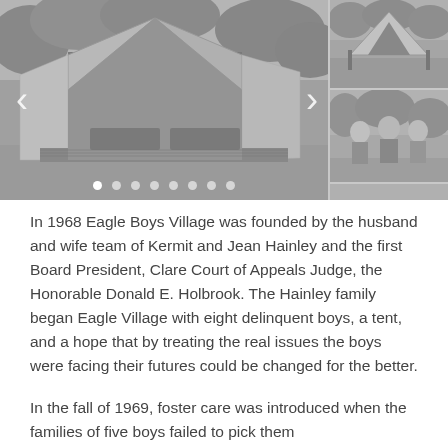[Figure (photo): Black and white photo slideshow of Eagle Boys Village. Main large photo shows an open canvas tent/shelter in a wooded area with navigation arrows and dot indicators. Side panel shows two smaller photos: one of a tent from outside, and one of three people posing together (group portrait).]
In 1968 Eagle Boys Village was founded by the husband and wife team of Kermit and Jean Hainley and the first Board President, Clare Court of Appeals Judge, the Honorable Donald E. Holbrook. The Hainley family began Eagle Village with eight delinquent boys, a tent, and a hope that by treating the real issues the boys were facing their futures could be changed for the better.
In the fall of 1969, foster care was introduced when the families of five boys failed to pick them